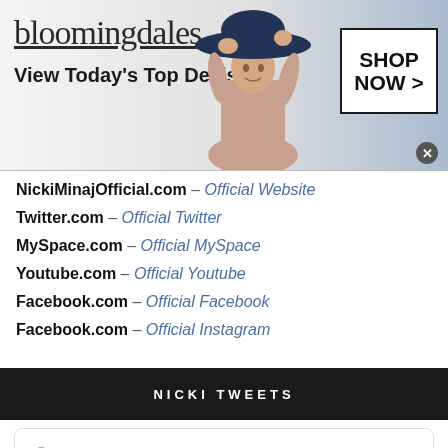[Figure (photo): Bloomingdales advertisement banner with logo, 'View Today's Top Deals!' tagline, model wearing hat, and 'SHOP NOW >' button]
NickiMinajOfficial.com – Official Website
Twitter.com – Official Twitter
MySpace.com – Official MySpace
Youtube.com – Official Youtube
Facebook.com – Official Facebook
Facebook.com – Official Instagram
NICKI TWEETS
Nicki Minaj Retweeted
[Figure (photo): Dickies advertisement with logo image text 'DE IN DICKI', ad title 'Dickies® | Official Site | Workwear & Apparel', description text 'for work pants, work shirts, overalls, and coveralls.', URL 'www.dickies.com', and navigation arrow circle]